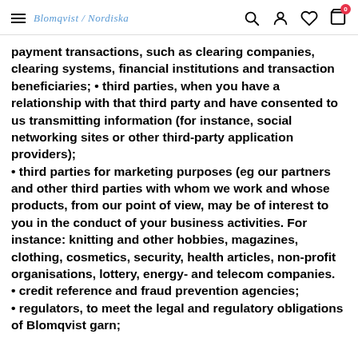Blomqvist / Nordiska
payment transactions, such as clearing companies, clearing systems, financial institutions and transaction beneficiaries; • third parties, when you have a relationship with that third party and have consented to us transmitting information (for instance, social networking sites or other third-party application providers); • third parties for marketing purposes (eg our partners and other third parties with whom we work and whose products, from our point of view, may be of interest to you in the conduct of your business activities. For instance: knitting and other hobbies, magazines, clothing, cosmetics, security, health articles, non-profit organisations, lottery, energy- and telecom companies. • credit reference and fraud prevention agencies; • regulators, to meet the legal and regulatory obligations of Blomqvist garn;